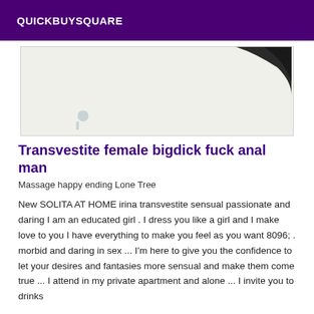QUICKBUYSQUARE
[Figure (photo): Partial photo showing a light background with a dark object (appears to be a black device or cable) in the upper right corner]
Transvestite female bigdick fuck anal man
Massage happy ending Lone Tree
New SOLITA AT HOME irina transvestite sensual passionate and daring I am an educated girl . I dress you like a girl and I make love to you I have everything to make you feel as you want 8096; . morbid and daring in sex ... I'm here to give you the confidence to let your desires and fantasies more sensual and make them come true ... I attend in my private apartment and alone ... I invite you to drinks